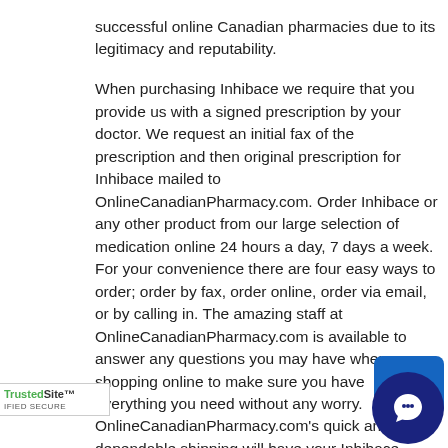successful online Canadian pharmacies due to its legitimacy and reputability.
When purchasing Inhibace we require that you provide us with a signed prescription by your doctor. We request an initial fax of the prescription and then original prescription for Inhibace mailed to OnlineCanadianPharmacy.com. Order Inhibace or any other product from our large selection of medication online 24 hours a day, 7 days a week. For your convenience there are four easy ways to order; order by fax, order online, order via email, or by calling in. The amazing staff at OnlineCanadianPharmacy.com is available to answer any questions you may have when shopping online to make sure you have everything you need without any worry. OnlineCanadianPharmacy.com's quick and dependable shipping will have your Inhibace mailed to your location within 2 to 4 weeks upon the order date. OnlineCanadianPharmacy.com accepts all major credit cards, international money orders, and bank certified checks for your convenience.
OnlineCanadianPharmacy.com's large variety of